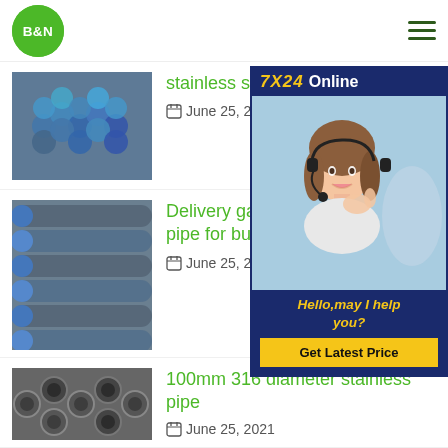[Figure (logo): B&N logo — green circle with white text B&N]
B&N — navigation header with hamburger menu
[Figure (photo): Stack of stainless steel pipes, blue-tipped ends visible]
stainless steel pipe su…
June 25, 2021
[Figure (photo): Bundle of galvanized steel pipes, blue and silver tones]
Delivery gas galvanized steel pipe for building greenhouse
June 25, 2021
[Figure (photo): Thick-walled steel pipes, dark gray, hollow ends visible]
100mm 316 diameter stainless pipe
June 25, 2021
[Figure (infographic): 7X24 Online chat support widget with woman wearing headset. Text: Hello,may I help you? Get Latest Price button.]